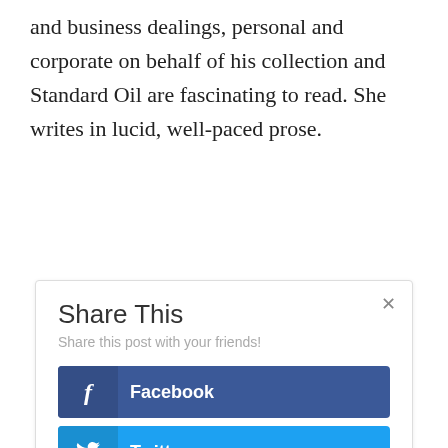and business dealings, personal and corporate on behalf of his collection and Standard Oil are fascinating to read. She writes in lucid, well-paced prose.
Share This
Share this post with your friends!
Facebook
Twitter
Google+
Pinterest